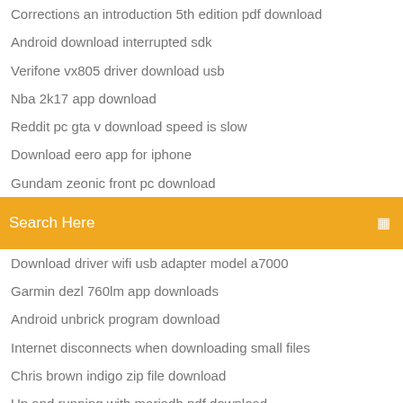Corrections an introduction 5th edition pdf download
Android download interrupted sdk
Verifone vx805 driver download usb
Nba 2k17 app download
Reddit pc gta v download speed is slow
Download eero app for iphone
Gundam zeonic front pc download
Search Here
Download driver wifi usb adapter model a7000
Garmin dezl 760lm app downloads
Android unbrick program download
Internet disconnects when downloading small files
Chris brown indigo zip file download
Up and running with mariadb pdf download
Marble syrup nympho waifu full version download
Download mod skyrim bodu slide
Free download draw pdf
Free download coreldraw 2018 full version